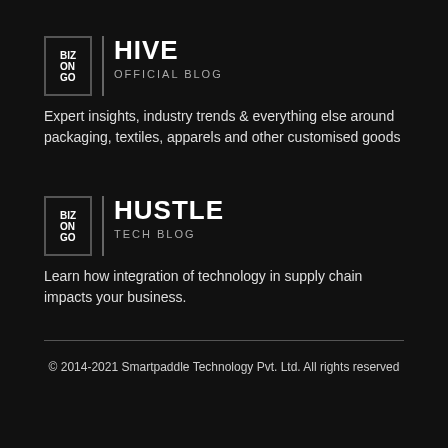[Figure (logo): BizOnGo logo box with text BIZ ON GO in a bordered square]
HIVE
OFFICIAL BLOG
Expert insights, industry trends & everything else around packaging, textiles, apparels and other customised goods
[Figure (logo): BizOnGo logo box with text BIZ ON GO in a bordered square]
HUSTLE
TECH BLOG
Learn how integration of technology in supply chain impacts your business.
© 2014-2021 Smartpaddle Technology Pvt. Ltd. All rights reserved